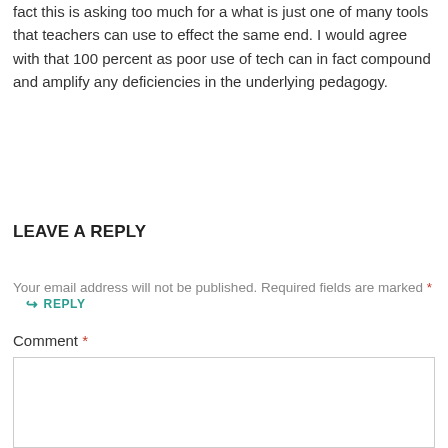fact this is asking too much for a what is just one of many tools that teachers can use to effect the same end. I would agree with that 100 percent as poor use of tech can in fact compound and amplify any deficiencies in the underlying pedagogy.
↪ REPLY
LEAVE A REPLY
Your email address will not be published. Required fields are marked *
Comment *